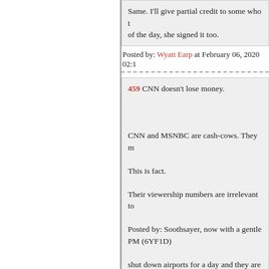Same. I'll give partial credit to some who t... of the day, she signed it too.
Posted by: Wyatt Earp at February 06, 2020 02:1...
459 CNN doesn't lose money.

CNN and MSNBC are cash-cows. They m...

This is fact.

Their viewership numbers are irrelevant to...

Posted by: Soothsayer, now with a gentle... PM (6YF1D)

shut down airports for a day and they are f... betters long ago decided CNN was the sta... right.

More and more I am seeing the Home and... public places.
Posted by: Quint at February 06, 2020 02:11 PM...